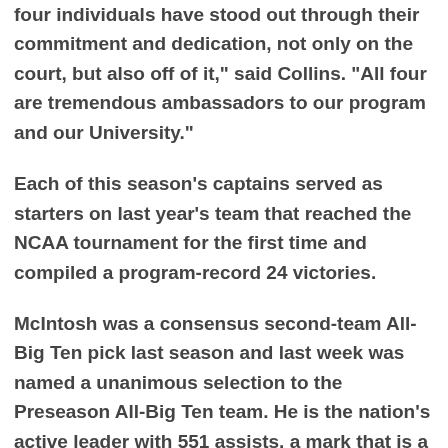four individuals have stood out through their commitment and dedication, not only on the court, but also off of it," said Collins. "All four are tremendous ambassadors to our program and our University."
Each of this season's captains served as starters on last year's team that reached the NCAA tournament for the first time and compiled a program-record 24 victories.
McIntosh was a consensus second-team All-Big Ten pick last season and last week was named a unanimous selection to the Preseason All-Big Ten team. He is the nation's active leader with 551 assists, a mark that is a Northwestern record. McIntosh led the Wildcats in scoring with an average of 14.8 points per game during the 2016-17 campaign.